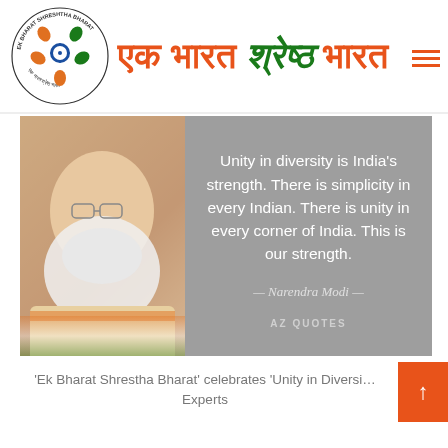[Figure (logo): Ek Bharat Shrestha Bharat circular logo with people figures in orange, green and blue, surrounded by circular text]
एक भारत श्रेष्ठ भारत
[Figure (photo): Portrait photo of Narendra Modi on left, grey panel on right with quote: Unity in diversity is India's strength. There is simplicity in every Indian. There is unity in every corner of India. This is our strength. — Narendra Modi — AZQUOTES]
'Ek Bharat Shrestha Bharat' celebrates 'Unity in Diversity' Experts